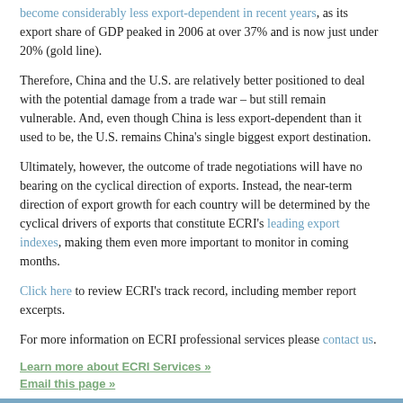become considerably less export-dependent in recent years, as its export share of GDP peaked in 2006 at over 37% and is now just under 20% (gold line).
Therefore, China and the U.S. are relatively better positioned to deal with the potential damage from a trade war – but still remain vulnerable. And, even though China is less export-dependent than it used to be, the U.S. remains China's single biggest export destination.
Ultimately, however, the outcome of trade negotiations will have no bearing on the cyclical direction of exports. Instead, the near-term direction of export growth for each country will be determined by the cyclical drivers of exports that constitute ECRI's leading export indexes, making them even more important to monitor in coming months.
Click here to review ECRI's track record, including member report excerpts.
For more information on ECRI professional services please contact us.
Learn more about ECRI Services »
Email this page »
« BACK | HOME
NEWS & EVENTS
REPORTS & INDEXES
SERVICES